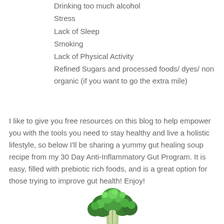Drinking too much alcohol
Stress
Lack of Sleep
Smoking
Lack of Physical Activity
Refined Sugars and processed foods/ dyes/ non organic (if you want to go the extra mile)
I like to give you free resources on this blog to help empower you with the tools you need to stay healthy and live a holistic lifestyle, so below I'll be sharing a yummy gut healing soup recipe from my 30 Day Anti-Inflammatory Gut Program. It is easy, filled with prebiotic rich foods, and is a great option for those trying to improve gut health! Enjoy!
[Figure (photo): A fresh broccoli floret photographed against a white background, showing green florets and a pale stem.]